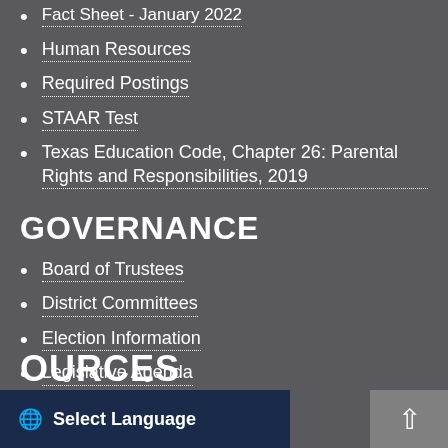Fact Sheet - January 2022
Human Resources
Required Postings
STAAR Test
Texas Education Code, Chapter 26: Parental Rights and Responsibilities, 2019
GOVERNANCE
Board of Trustees
District Committees
Election Information
Legislative Agenda
Strategic Plan 2022-2027
OURCES
Select Language